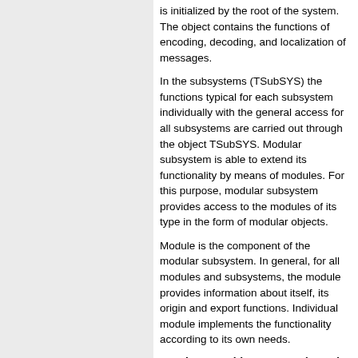is initialized by the root of the system. The object contains the functions of encoding, decoding, and localization of messages.
In the subsystems (TSubSYS) the functions typical for each subsystem individually with the general access for all subsystems are carried out through the object TSubSYS. Modular subsystem is able to extend its functionality by means of modules. For this purpose, modular subsystem provides access to the modules of its type in the form of modular objects.
Module is the component of the modular subsystem. In general, for all modules and subsystems, the module provides information about itself, its origin and export functions. Individual module implements the functionality according to its own needs.
2.1 The root object system (TSYS)